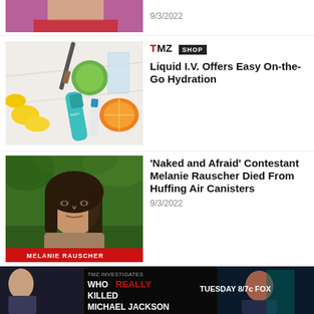9/3/2022
[Figure (photo): Liquid I.V. hydration products with lemons, lime, a glass of water, and a knife on a white surface]
TMZ SHOP — Liquid I.V. Offers Easy On-the-Go Hydration
[Figure (photo): Woman (Melanie Rauscher) from Naked and Afraid, outdoors, with lower-third caption label 'MELANIE RAUSCHER']
'Naked and Afraid' Contestant Melanie Rauscher Died From Huffing Air Canisters
9/3/2022
[Figure (photo): TMZ Investigates ad banner: 'Who REALLY Killed Michael Jackson — Tuesday 8/7c FOX']